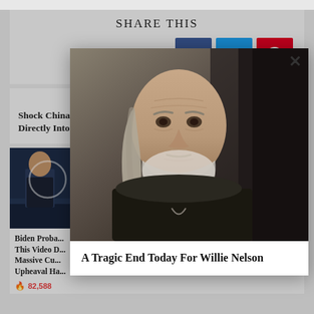SHARE THIS
[Figure (infographic): Three social share buttons: Facebook (blue), Twitter (cyan), Pinterest (red)]
PREVIOUS ARTICLE
Shock China Forcing Christians to Insert Communist Propaganda Directly Into the
[Figure (photo): Thumbnail photo of a man in a TV studio with a circle overlay graphic]
Biden Probably Would Banish This Video Do... Massive Cu... Upheaval Ha...
82,588
[Figure (photo): Close-up photo of Willie Nelson, an elderly man with long gray hair and white beard]
A Tragic End Today For Willie Nelson